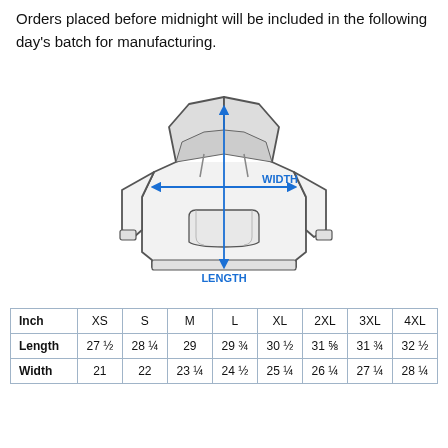Orders placed before midnight will be included in the following day's batch for manufacturing.
[Figure (illustration): Line drawing of a hoodie sweatshirt with blue measurement arrows: a vertical arrow labeled LENGTH from collar to hem, and a horizontal arrow labeled WIDTH across the chest.]
| Inch | XS | S | M | L | XL | 2XL | 3XL | 4XL |
| --- | --- | --- | --- | --- | --- | --- | --- | --- |
| Length | 27 ½ | 28 ¼ | 29 | 29 ¾ | 30 ½ | 31 ⅝ | 31 ¾ | 32 ½ |
| Width | 21 | 22 | 23 ¼ | 24 ½ | 25 ¼ | 26 ¼ | 27 ¼ | 28 ¼ |